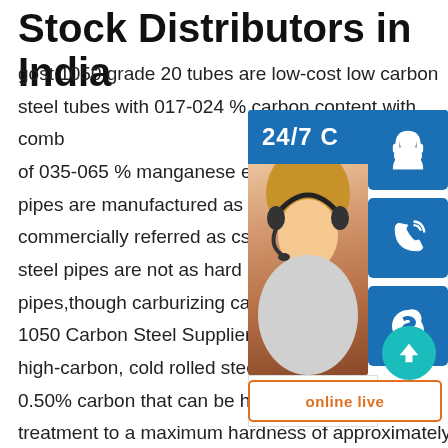Stock Distributors in India
gost 1050 grade 20 tubes are low-cost low carbon steel tubes with 017-024 % carbon content with combination of 035-065 % manganese easy to form and weld pipes are manufactured as per gost specifications commercially referred as cs pipes or ms pipes mild steel pipes are not as hard as hig carbon steel pipes,though carburizing can sp.info ASTM 1050 Carbon Steel Supplier Steel ASTM A1050 high-carbon, cold rolled steel containing a minimum 0.50% carbon that can be hardened by heat treatment to a maximum hardness of approximately Rockwell C Soft annealed high carbon steel is meant for uses requiring moderate forming, while soft spheroidized annealed product is meant for uses requiring maximum
[Figure (infographic): Overlay widget showing 24/7 customer support banner with headset icon, phone icon, Skype icon, a woman with headset photo, PROVIDE Empowering Customers bar, online live button, and a teal scroll-to-top circle button.]